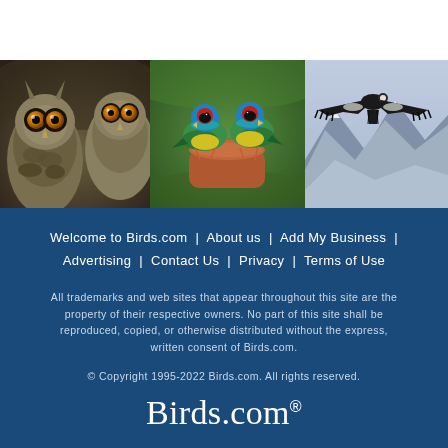[Figure (photo): Three bird photos side by side: two owls close-up on the left, two colorful Gouldian finches perched on a clay pot in the middle, a large condor soaring over mountains on the right]
Welcome to Birds.com  |  About us  |  Add My Business  |  Advertising  |  Contact Us  |  Privacy  |  Terms of Use
All trademarks and web sites that appear throughout this site are the property of their respective owners. No part of this site shall be reproduced, copied, or otherwise distributed without the express, written consent of Birds.com.
© Copyright 1995-2022 Birds.com. All rights reserved.
Birds.com®